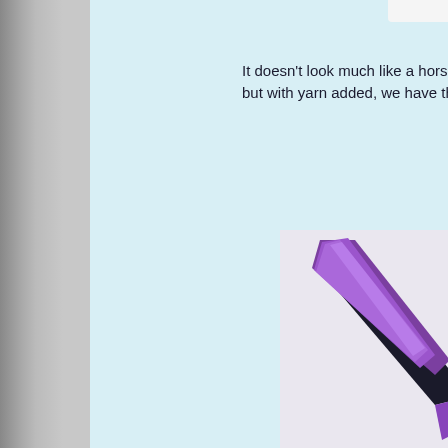It doesn't look much like a horse here, but with yarn added, we have this:
[Figure (photo): Partial view of a purple and black object (appears to be a craft or toy horse piece) against a light background, cropped at the right edge of the page]